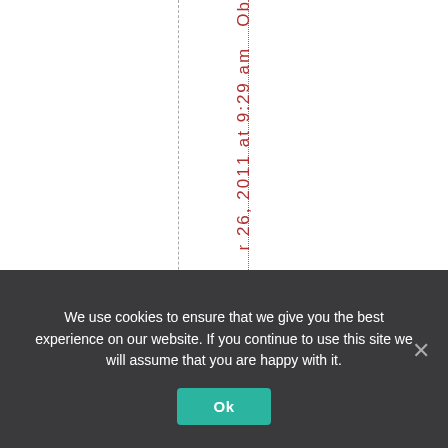r 26, 2011 at 9:29 am Ob
We use cookies to ensure that we give you the best experience on our website. If you continue to use this site we will assume that you are happy with it. Ok